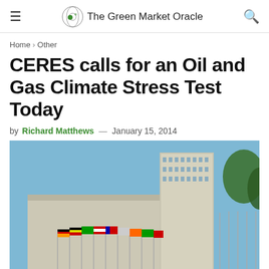The Green Market Oracle
Home > Other
CERES calls for an Oil and Gas Climate Stress Test Today
by Richard Matthews — January 15, 2014
[Figure (photo): Photograph of the United Nations headquarters building with flags of various nations in the foreground against a blue sky with trees visible on the right side]